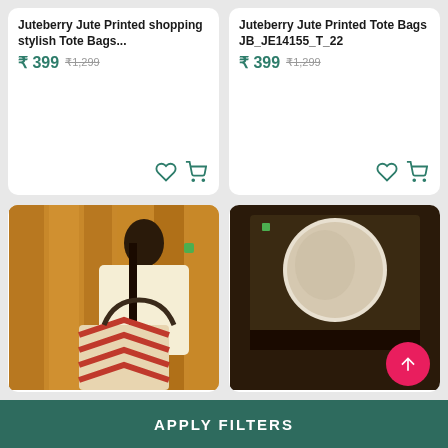Juteberry Jute Printed shopping stylish Tote Bags... ₹ 399 ₹1,299
Juteberry Jute Printed Tote Bags JB_JE14155_T_22 ₹ 399 ₹1,299
[Figure (photo): Woman holding a jute printed tote bag with chevron pattern, standing against wooden wall]
[Figure (photo): Partial product image showing a jute tote bag with circular mirror detail]
APPLY FILTERS